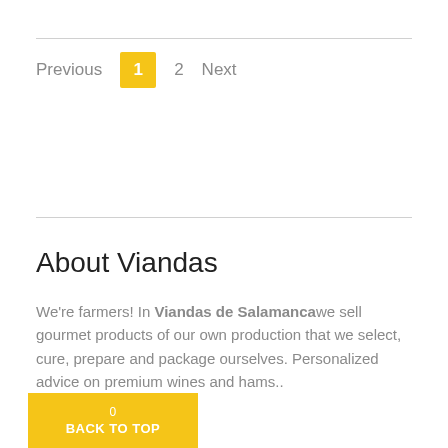Previous  1  2  Next
About Viandas
We're farmers! In Viandas de Salamanca we sell gourmet products of our own production that we select, cure, prepare and package ourselves. Personalized advice on premium wines and hams..
Read more
Our Product
Wines
0  BACK TO TOP